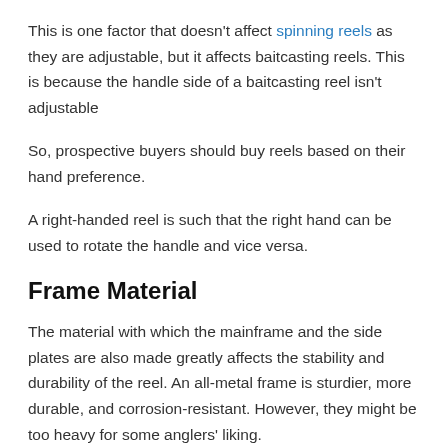This is one factor that doesn't affect spinning reels as they are adjustable, but it affects baitcasting reels. This is because the handle side of a baitcasting reel isn't adjustable
So, prospective buyers should buy reels based on their hand preference.
A right-handed reel is such that the right hand can be used to rotate the handle and vice versa.
Frame Material
The material with which the mainframe and the side plates are also made greatly affects the stability and durability of the reel. An all-metal frame is sturdier, more durable, and corrosion-resistant. However, they might be too heavy for some anglers' liking.
Graphite reels are highly flexible and lightweight. However, they